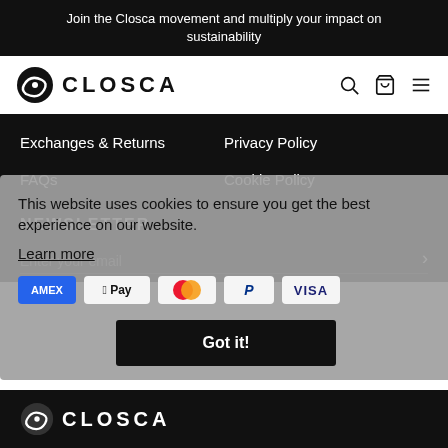Join the Closca movement and multiply your impact on sustainability
[Figure (logo): Closca logo with circular icon and wordmark CLOSCA]
Exchanges & Returns
Privacy Policy
FAQs
Cookie Policy
NEWSLETTER
Enter your email
This website uses cookies to ensure you get the best experience on our website.
Learn more
[Figure (infographic): Payment method badges: American Express, Apple Pay, Mastercard, PayPal, Visa]
Got it!
[Figure (logo): Closca footer logo with circular icon and wordmark CLOSCA in white]